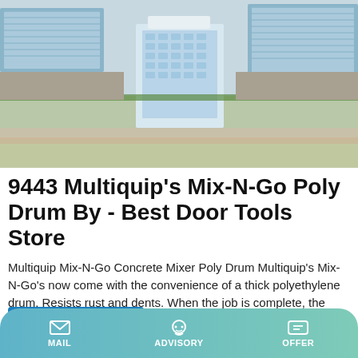[Figure (photo): Aerial view of a large industrial/commercial campus with blue-roofed factory buildings, a central multi-story office building with glass facade, tree-lined roads, and parking areas.]
9443 Multiquip's Mix-N-Go Poly Drum By - Best Door Tools Store
Multiquip Mix-N-Go Concrete Mixer Poly Drum Multiquip's Mix-N-Go's now come with the convenience of a thick polyethylene drum. Resists rust and dents. When the job is complete, the compact Mix-N-Go fits neatly into the trunk of a car. Free shipping from Multiquip warehouse Stand …
MAIL   ADVISORY   OFFER